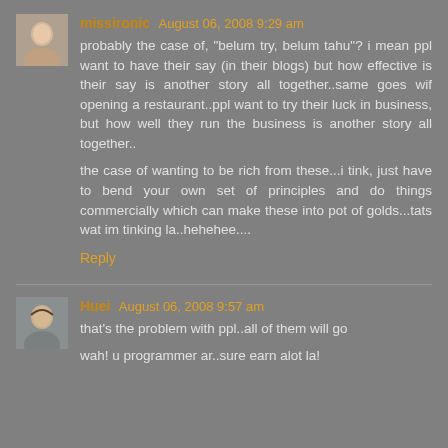[Figure (photo): Avatar photo of missironic]
missironic August 06, 2008 9:29 am
probably the case of, "belum try, belum tahu"? i mean ppl want to have their say (in their blogs) but how effective is their say is another story all together..same goes wif opening a restaurant..ppl want to try their luck in business, but how well they run the business is another story all together..
the case of wanting to be rich from these...i tink, just have to bend your own set of principles and do things commercially which can make these into pot of golds...tats wat im tinking la..hehehee....
Reply
[Figure (photo): Avatar photo of Huei]
Huei August 06, 2008 9:57 am
that's the problem with ppl..all of them will go
wah! u programmer ar..sure earn alot la!